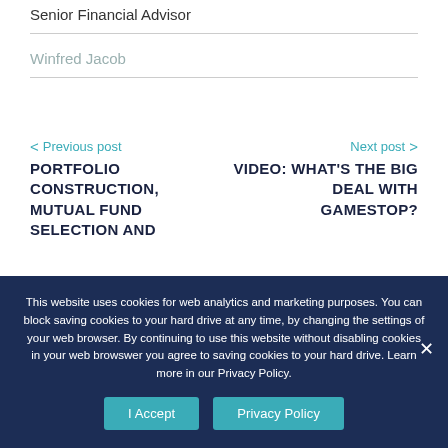Senior Financial Advisor
Winfred Jacob
< Previous post
PORTFOLIO CONSTRUCTION, MUTUAL FUND SELECTION AND
Next post >
VIDEO: WHAT'S THE BIG DEAL WITH GAMESTOP?
This website uses cookies for web analytics and marketing purposes. You can block saving cookies to your hard drive at any time, by changing the settings of your web browser. By continuing to use this website without disabling cookies in your web browswer you agree to saving cookies to your hard drive. Learn more in our Privacy Policy.
I Accept
Privacy Policy